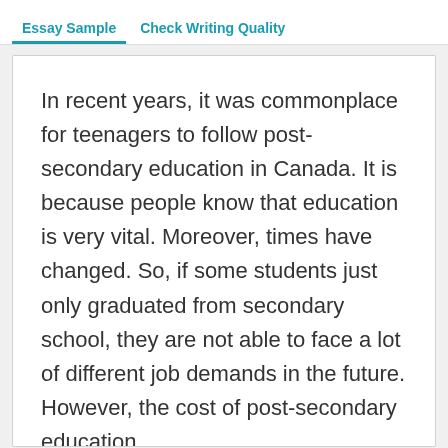Essay Sample  Check Writing Quality
In recent years, it was commonplace for teenagers to follow post-secondary education in Canada. It is because people know that education is very vital. Moreover, times have changed. So, if some students just only graduated from secondary school, they are not able to face a lot of different job demands in the future. However, the cost of post-secondary education